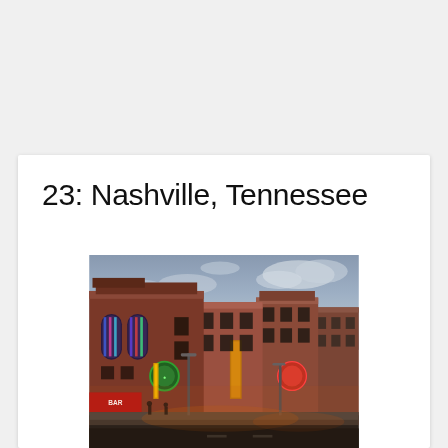23: Nashville, Tennessee
[Figure (photo): Street-level photo of Broadway in Nashville, Tennessee, showing historic red-brick buildings with colorful neon signs and bar/entertainment venues at dusk, with a dramatic cloudy sky overhead.]